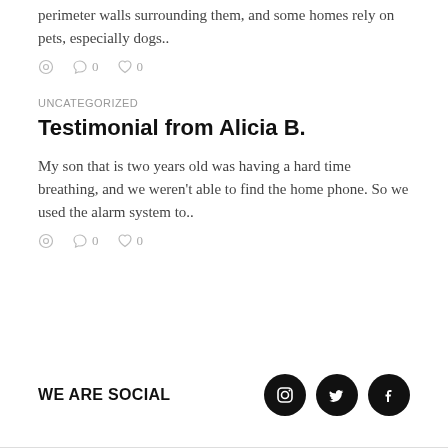perimeter walls surrounding them, and some homes rely on pets, especially dogs..
0  0
UNCATEGORIZED
Testimonial from Alicia B.
My son that is two years old was having a hard time breathing, and we weren't able to find the home phone. So we used the alarm system to..
0  0
WE ARE SOCIAL
[Figure (illustration): Social media icons: Instagram, Twitter, Facebook in black circles]